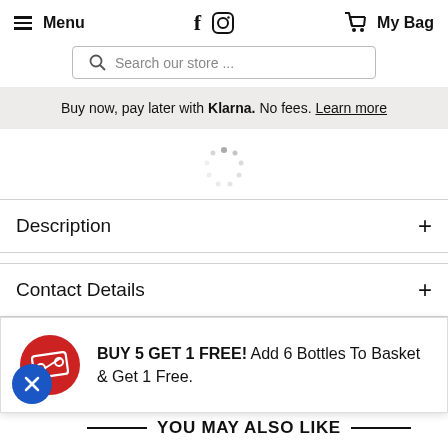Menu  f [instagram]  My Bag
Search our store ...
Buy now, pay later with Klarna. No fees. Learn more
[Figure (other): Loading spinner — circular dotted spinner animation]
Description +
Contact Details +
BUY 5 GET 1 FREE! Add 6 Bottles To Basket & Get 1 Free.
YOU MAY ALSO LIKE